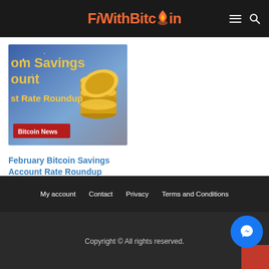FiWithBitcoin
[Figure (screenshot): Website screenshot showing Bitcoin savings account article thumbnail with gold coins on blue background and 'Bitcoin News' badge]
February Bitcoin Savings Account Rate Roundup
6 months ago
My account   Contact   Privacy   Terms and Conditions
Copyright © All rights reserved.